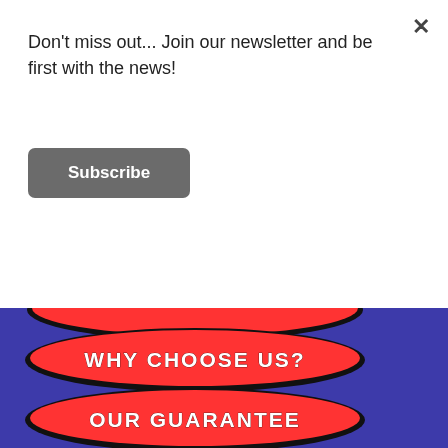Don't miss out... Join our newsletter and be first with the news!
Subscribe
[Figure (infographic): Navigation menu with red oval buttons on purple background showing: WHY CHOOSE US?, OUR GUARANTEE, YOUR TEACHERS, SEE VIDEO, WHAT THEY SAY, IN SCHOOLS, WEDDINGS (partially visible)]